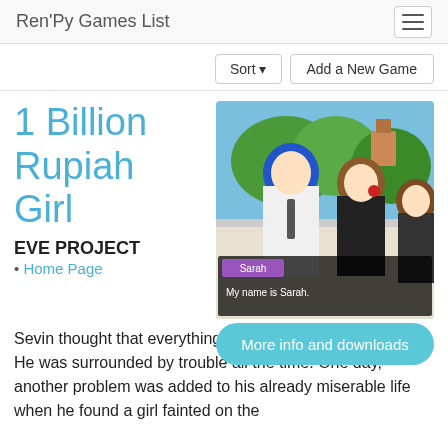Ren'Py Games List
1 Billion Rupiah Girl
[Figure (screenshot): Anime-style visual novel screenshot showing three characters outdoors: a blue-haired male in a white uniform, a brown-haired female in uniform with a dialogue box reading 'Sarah' and 'My name is Sarah.']
More info and downloads
EVE PROJECT
• Home Page
Sevin thought that everything in this world was against him. He was surrounded by trouble all the time. One day, another problem was added to his already miserable life when he found a girl fainted on the